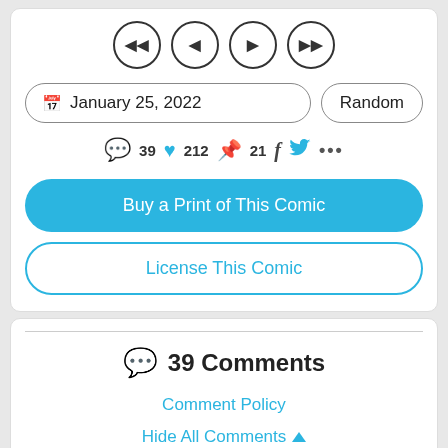[Figure (screenshot): Navigation buttons row with four circular arrow buttons: skip-back, back, forward, skip-forward]
January 25, 2022
Random
39  212  21
Buy a Print of This Comic
License This Comic
39 Comments
Comment Policy
Hide All Comments